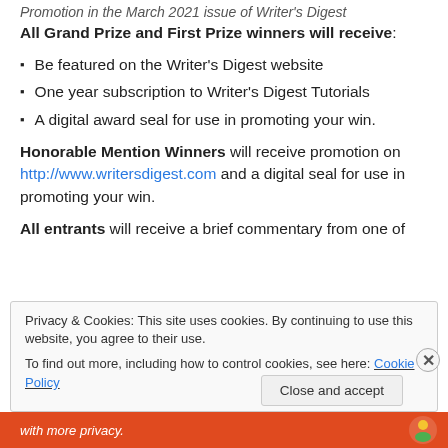Promotion in the March 2021 issue of Writer's Digest
All Grand Prize and First Prize winners will receive:
Be featured on the Writer's Digest website
One year subscription to Writer's Digest Tutorials
A digital award seal for use in promoting your win.
Honorable Mention Winners will receive promotion on http://www.writersdigest.com and a digital seal for use in promoting your win.
All entrants will receive a brief commentary from one of
Privacy & Cookies: This site uses cookies. By continuing to use this website, you agree to their use.
To find out more, including how to control cookies, see here: Cookie Policy